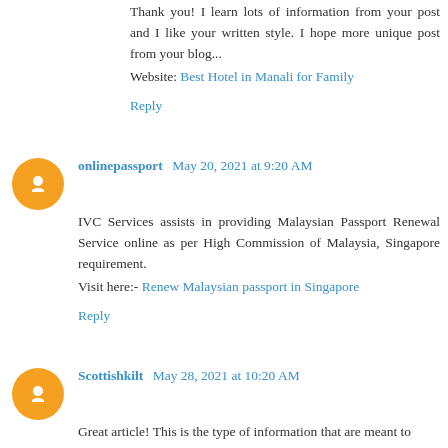Thank you! I learn lots of information from your post and I like your written style. I hope more unique post from your blog...
Website: Best Hotel in Manali for Family
Reply
onlinepassport May 20, 2021 at 9:20 AM
IVC Services assists in providing Malaysian Passport Renewal Service online as per High Commission of Malaysia, Singapore requirement.
Visit here:- Renew Malaysian passport in Singapore
Reply
Scottishkilt May 28, 2021 at 10:20 AM
Great article! This is the type of information that are meant to be shared across the internet. Thank you for sharing such a